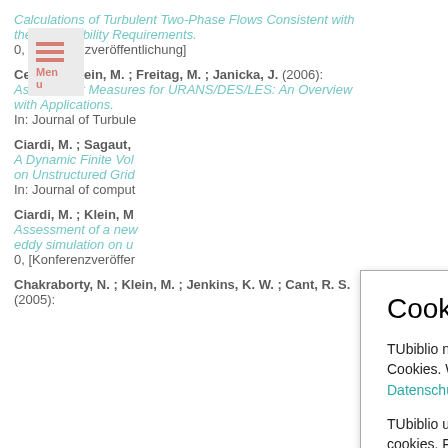Calculations of Turbulent Two-Phase Flows Consistent with the Irreversibility Requirements. 0, [Konferenzveröffentlichung]
Celik, I. ; Klein, M. ; Freitag, M. ; Janicka, J. (2006): Assessment Measures for URANS/DES/LES: An Overview with Applications. In: Journal of Turbule...
Ciardi, M. ; Sagaut, ... A Dynamic Finite Vol... on Unstructured Grid... In: Journal of comput...
Ciardi, M. ; Klein, M... Assessment of a new... eddy simulation on u... 0, [Konferenzveröffen...
Chakraborty, N. ; Klein, M. ; Jenkins, K. W. ; Cant, R. S. (2005):
[Figure (screenshot): Cookie consent modal dialog box with title 'Cookies', German and English text about cookies policy for TUbiblio, with links 'Datenschutzerklärung' and 'privacy policy', and an 'Okay' button.]